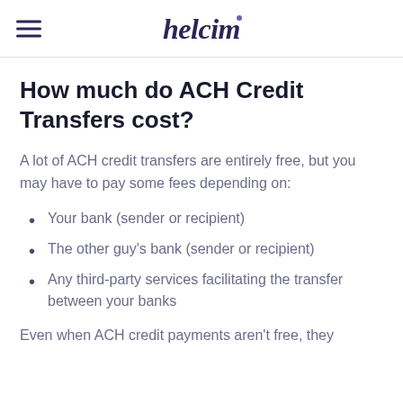helcim
How much do ACH Credit Transfers cost?
A lot of ACH credit transfers are entirely free, but you may have to pay some fees depending on:
Your bank (sender or recipient)
The other guy's bank (sender or recipient)
Any third-party services facilitating the transfer between your banks
Even when ACH credit payments aren't free, they